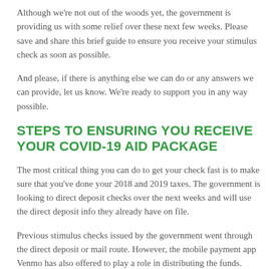Although we're not out of the woods yet, the government is providing us with some relief over these next few weeks. Please save and share this brief guide to ensure you receive your stimulus check as soon as possible.
And please, if there is anything else we can do or any answers we can provide, let us know. We're ready to support you in any way possible.
STEPS TO ENSURING YOU RECEIVE YOUR COVID-19 AID PACKAGE
The most critical thing you can do to get your check fast is to make sure that you've done your 2018 and 2019 taxes. The government is looking to direct deposit checks over the next weeks and will use the direct deposit info they already have on file.
Previous stimulus checks issued by the government went through the direct deposit or mail route. However, the mobile payment app Venmo has also offered to play a role in distributing the funds. We'll have to wait to see if this indeed happens.